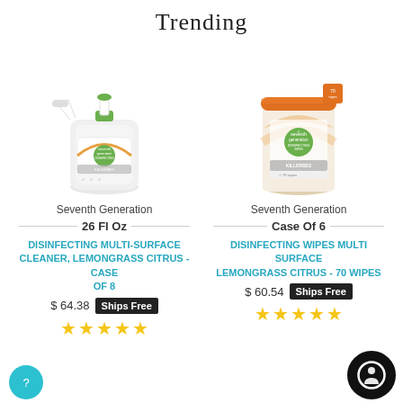Trending
[Figure (photo): Seventh Generation Disinfecting Multi-Surface Cleaner spray bottle with green cap, orange leaf design]
Seventh Generation
26 Fl Oz
DISINFECTING MULTI-SURFACE CLEANER, LEMONGRASS CITRUS - CASE OF 8
$ 64.38 Ships Free
[Figure (photo): Seventh Generation Disinfecting Wipes canister with orange lid, Lemongrass Citrus scent, 70 wipes]
Seventh Generation
Case Of 6
DISINFECTING WIPES MULTI SURFACE LEMONGRASS CITRUS - 70 WIPES
$ 60.54 Ships Free